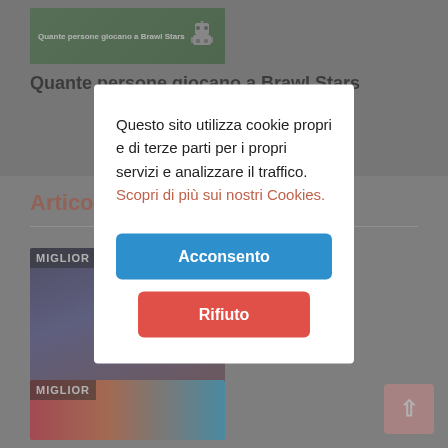[Figure (screenshot): Thumbnail image for article about Brawl Stars with green banner and robot icon, text: Quante persone giocano a Brawl Stars]
Quante persone giocano a Brawl Stars
Articoli da non Perdere
[Figure (screenshot): Article thumbnail image showing AMD Ryzen hardware with label MIGLIOR]
Miglior Pro
[Figure (screenshot): Second article thumbnail image with MIGLIOR label showing colorful hardware]
Questo sito utilizza cookie propri e di terze parti per i propri servizi e analizzare il traffico. Scopri di più sui nostri Cookies.
Acconsento
Rifiuto